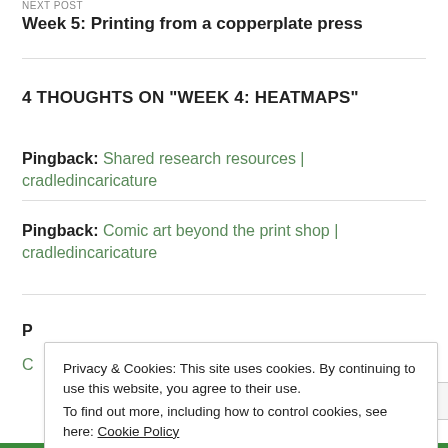NEXT POST
Week 5: Printing from a copperplate press
4 THOUGHTS ON "WEEK 4: HEATMAPS"
Pingback: Shared research resources | cradledincaricature
Pingback: Comic art beyond the print shop | cradledincaricature
P...
Privacy & Cookies: This site uses cookies. By continuing to use this website, you agree to their use.
To find out more, including how to control cookies, see here: Cookie Policy
Close and accept